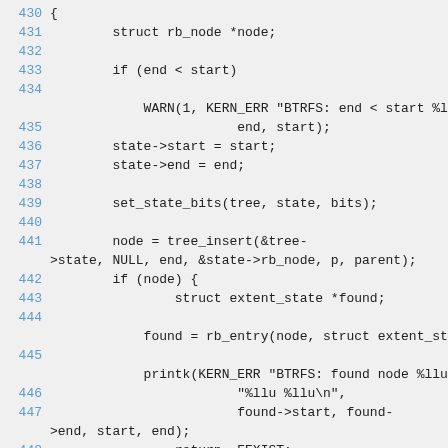Code listing lines 430-449, C source code with line numbers
430 {
431     struct rb_node *node;
432 
433     if (end < start)
434 
435         WARN(1, KERN_ERR "BTRFS: end < start %ll
                end, start);
436     state->start = start;
437     state->end = end;
438 
439     set_state_bits(tree, state, bits);
440 
441     node = tree_insert(&tree->state, NULL, end, &state->rb_node, p, parent);
442     if (node) {
443             struct extent_state *found;
444 
445         found = rb_entry(node, struct extent_sta
446 
447         printk(KERN_ERR "BTRFS: found node %llu
448             "%llu %llu\n",
449             found->start, found->end, start, end);
450     return -EEXIST;
451     }